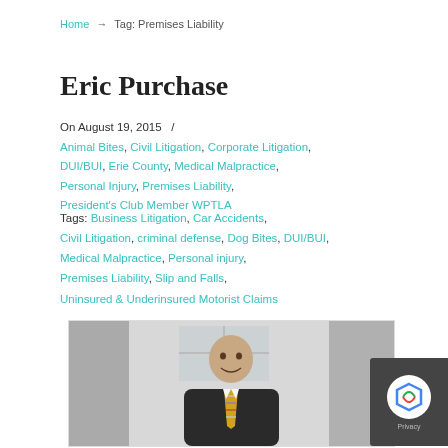Home → Tag: Premises Liability
Eric Purchase
On August 19, 2015  /  Animal Bites, Civil Litigation, Corporate Litigation, DUI/BUI, Erie County, Medical Malpractice, Personal Injury, Premises Liability, President's Club Member WPTLA
Tags: Business Litigation, Car Accidents, Civil Litigation, criminal defense, Dog Bites, DUI/BUI, Medical Malpractice, Personal injury, Premises Liability, Slip and Falls, Uninsured & Underinsured Motorist Claims
[Figure (photo): Professional headshot of Eric Purchase, a man in a dark suit with a striped tie, smiling, photographed in a light-colored interior setting.]